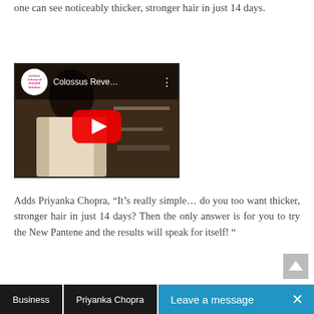one can see noticeably thicker, stronger hair in just 14 days.
[Figure (screenshot): YouTube video thumbnail showing 'Colossus Reve...' with a woman with long dark hair, a red play button, and a Pantene Advanced Hairfall Solution channel logo]
Adds Priyanka Chopra, “It’s really simple… do you too want thicker, stronger hair in just 14 days? Then the only answer is for you to try the New Pantene and the results will speak for itself! “
Business   Priyanka Chopra
Leave a message  ×